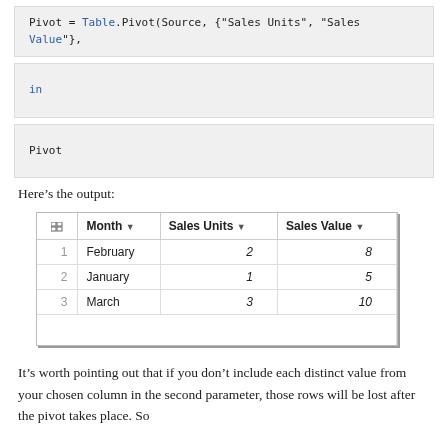Pivot = Table.Pivot(Source, {"Sales Units", "Sales Value"},
in
Pivot
Here’s the output:
| # | Month | Sales Units | Sales Value |
| --- | --- | --- | --- |
| 1 | February | 2 | 8 |
| 2 | January | 1 | 5 |
| 3 | March | 3 | 10 |
It’s worth pointing out that if you don’t include each distinct value from your chosen column in the second parameter, those rows will be lost after the pivot takes place. So